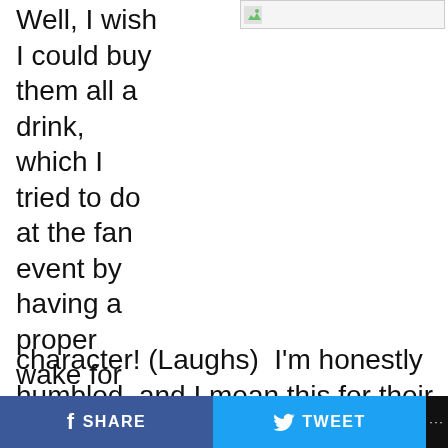Well, I wish I could buy them all a drink, which I tried to do at the fan event by having a proper wake for the character! (Laughs)  I'm honestly humbled, and I mean this for their outpouring of support.  I am pretty thick-skinned, and I have been doing this a long time.  Very little stings me.  And I admit, this stung me a little bit, and
[Figure (photo): Small image placeholder with green icon in upper right area]
Courtesy/ABC
SHARE   TWEET   ...